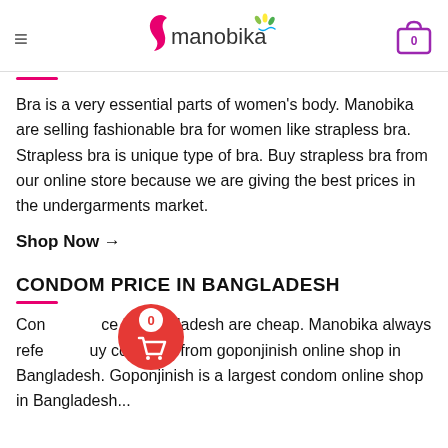manobika (logo header with hamburger menu and cart icon showing 0)
Bra is a very essential parts of women's body. Manobika are selling fashionable bra for women like strapless bra. Strapless bra is unique type of bra. Buy strapless bra from our online store because we are giving the best prices in the undergarments market.
Shop Now →
CONDOM PRICE IN BANGLADESH
Condom price in Bangladesh are cheap. Manobika always refers to buy condoms from goponjinish online shop in Bangladesh. Goponjinish is a largest condom online shop in Bangladesh...